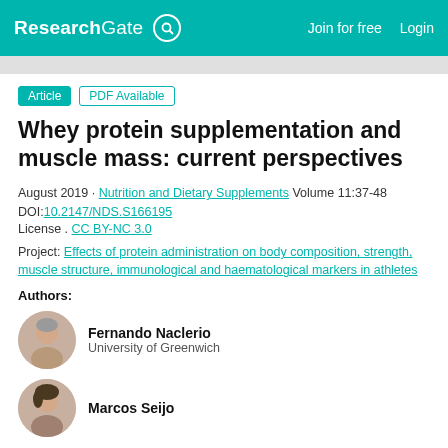ResearchGate  Join for free  Login
Article  PDF Available
Whey protein supplementation and muscle mass: current perspectives
August 2019 · Nutrition and Dietary Supplements Volume 11:37-48
DOI:10.2147/NDS.S166195
License . CC BY-NC 3.0
Project: Effects of protein administration on body composition, strength, muscle structure, immunological and haematological markers in athletes
Authors:
[Figure (photo): Circular avatar photo of Fernando Naclerio]
Fernando Naclerio
University of Greenwich
[Figure (photo): Circular avatar photo of Marcos Seijo]
Marcos Seijo